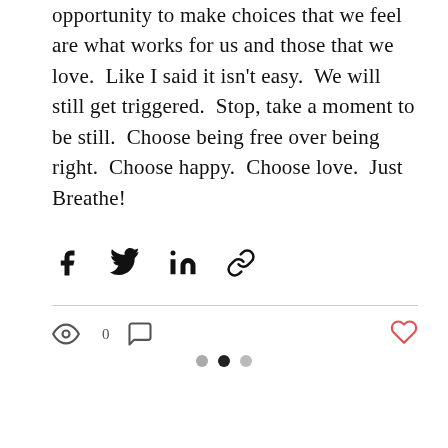opportunity to make choices that we feel are what works for us and those that we love.  Like I said it isn't easy.  We will still get triggered.  Stop, take a moment to be still.  Choose being free over being right.  Choose happy.  Choose love.  Just Breathe!
[Figure (other): Social share icons: Facebook, Twitter, LinkedIn, link/chain]
[Figure (other): Stats bar with eye icon showing 0 views, comment icon, and heart/like icon on the right]
[Figure (other): Three pagination dots: gray, black (active), gray]